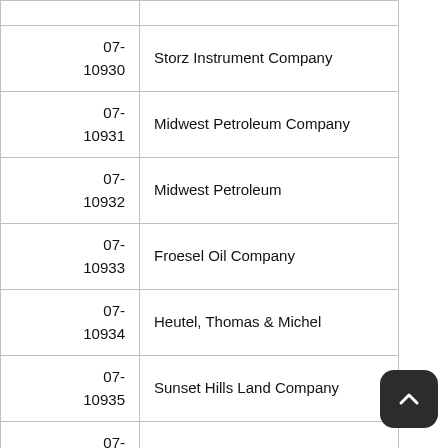| Case No. | Party Name |
| --- | --- |
| 07-10930 | Storz Instrument Company |
| 07-10931 | Midwest Petroleum Company |
| 07-10932 | Midwest Petroleum |
| 07-10933 | Froesel Oil Company |
| 07-10934 | Heutel, Thomas & Michel |
| 07-10935 | Sunset Hills Land Company |
| 07-10936 | Sunset Hills Land Company |